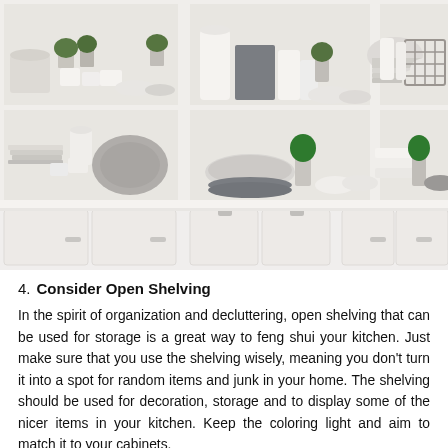[Figure (photo): Photo of white open kitchen shelving units filled with organized white and grey dishware, bowls, cups, plates, pitchers, and green plants. Below the open shelves are white closed lower cabinets.]
4. Consider Open Shelving
In the spirit of organization and decluttering, open shelving that can be used for storage is a great way to feng shui your kitchen. Just make sure that you use the shelving wisely, meaning you don't turn it into a spot for random items and junk in your home. The shelving should be used for decoration, storage and to display some of the nicer items in your kitchen. Keep the coloring light and aim to match it to your cabinets.